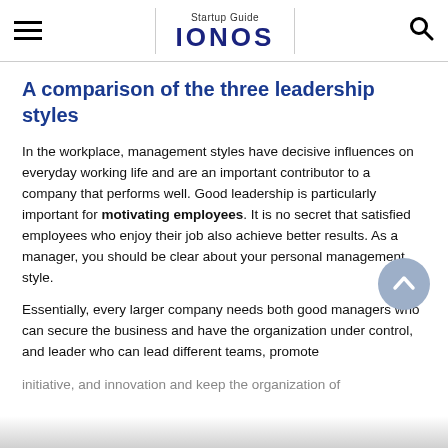Startup Guide IONOS
A comparison of the three leadership styles
In the workplace, management styles have decisive influences on everyday working life and are an important contributor to a company that performs well. Good leadership is particularly important for motivating employees. It is no secret that satisfied employees who enjoy their job also achieve better results. As a manager, you should be clear about your personal management style.
Essentially, every larger company needs both good managers who can secure the business and have the organization under control, and leader who can lead different teams, promote initiative, and innovation and keep the organization of